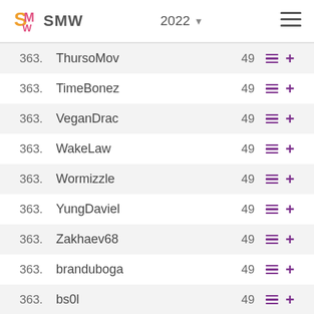SMW 2022
| Rank | Name | Score | Actions |
| --- | --- | --- | --- |
| 363. | ThursoMov | 49 | ≡ + |
| 363. | TimeBonez | 49 | ≡ + |
| 363. | VeganDrac | 49 | ≡ + |
| 363. | WakeLaw | 49 | ≡ + |
| 363. | Wormizzle | 49 | ≡ + |
| 363. | YungDaviel | 49 | ≡ + |
| 363. | Zakhaev68 | 49 | ≡ + |
| 363. | branduboga | 49 | ≡ + |
| 363. | bs0l | 49 | ≡ + |
| 363. | chiarab | 49 | ≡ + |